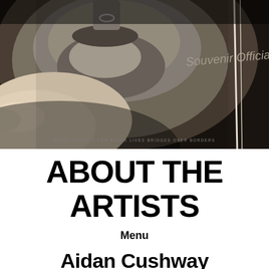[Figure (photo): Black and white close-up photograph of a person's lower face/chin area, hands visible. Text overlay reads 'Souvenir Official' and small text at bottom reads 'BLACK ARTISTS FOR BLACK LIVES   BRIDGES OVER BORDERS']
ABOUT THE ARTISTS
Menu
Aidan Cushway